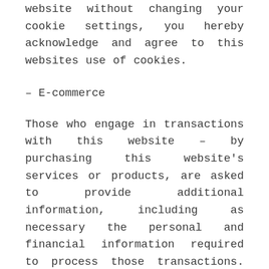website without changing your cookie settings, you hereby acknowledge and agree to this websites use of cookies.
– E-commerce
Those who engage in transactions with this website – by purchasing this website's services or products, are asked to provide additional information, including as necessary the personal and financial information required to process those transactions. In each case, this website collects such information only insofar as is necessary or